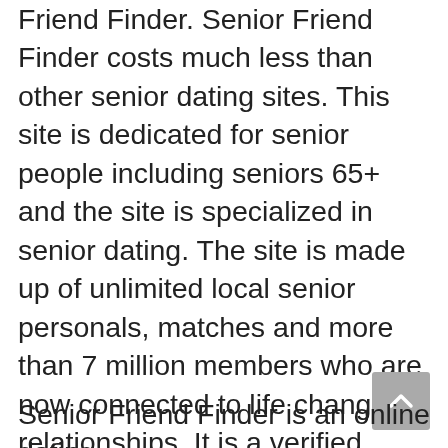Friend Finder. Senior Friend Finder costs much less than other senior dating sites. This site is dedicated for senior people including seniors 65+ and the site is specialized in senior dating. The site is made up of unlimited local senior personals, matches and more than 7 million members who are now connected to life changing relationships. It is a verified senior dating site. All users must be above the age 35. The Senior Friend Finder Reviews found that this is the ultimate senior personals site that literally changes lives. As you can see in the Senior Friend Finder Reviews, it helps to find that perfect partner or that best friend right outside your door.
Senior Friend Finder is an online dating